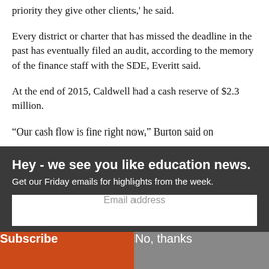priority they give other clients,' he said.
Every district or charter that has missed the deadline in the past has eventually filed an audit, according to the memory of the finance staff with the SDE, Everitt said.
At the end of 2015, Caldwell had a cash reserve of $2.3 million.
“Our cash flow is fine right now,” Burton said on
Hey - we see you like education news.
Get our Friday emails for highlights from the week.
Email address
Subscribe
No, thanks